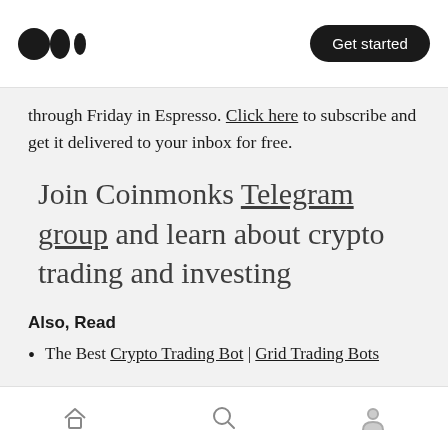Medium logo | Get started
through Friday in Espresso. Click here to subscribe and get it delivered to your inbox for free.
Join Coinmonks Telegram group and learn about crypto trading and investing
Also, Read
The Best Crypto Trading Bot | Grid Trading Bots
Home | Search | Profile